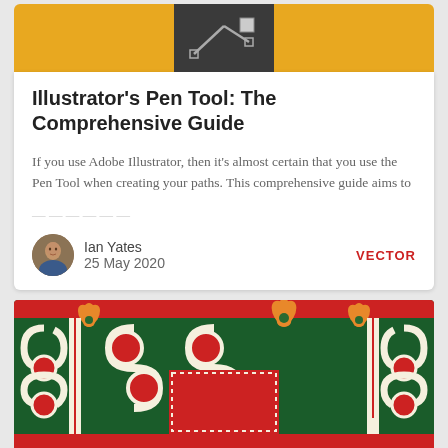[Figure (screenshot): Adobe Illustrator pen tool interface screenshot with orange/yellow background and dark toolbar area]
Illustrator's Pen Tool: The Comprehensive Guide
If you use Adobe Illustrator, then it's almost certain that you use the Pen Tool when creating your paths. This comprehensive guide aims to
(faded/truncated continuation text)
[Figure (illustration): Circular avatar photo of Ian Yates]
Ian Yates
25 May 2020
VECTOR
[Figure (illustration): African wax print fabric pattern with dark green background, red circular motifs, cream swirls, and orange floral elements]